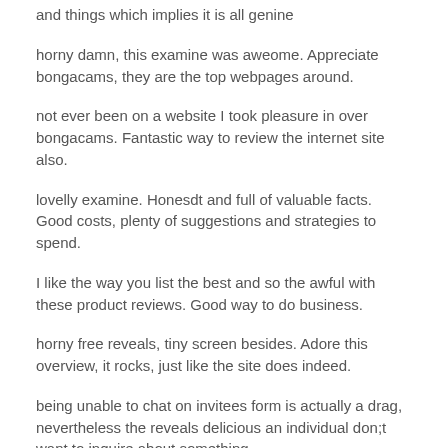and things which implies it is all genine
horny damn, this examine was aweome. Appreciate bongacams, they are the top webpages around.
not ever been on a website I took pleasure in over bongacams. Fantastic way to review the internet site also.
lovelly examine. Honesdt and full of valuable facts. Good costs, plenty of suggestions and strategies to spend.
I like the way you list the best and so the awful with these product reviews. Good way to do business.
horny free reveals, tiny screen besides. Adore this overview, it rocks, just like the site does indeed.
being unable to chat on invitees form is actually a drag, nevertheless the reveals delicious an individual don;t want to inquire about something
good reivew. Appreciated every phrase. Further reviewd liek this would be awesome. Leading relax also.